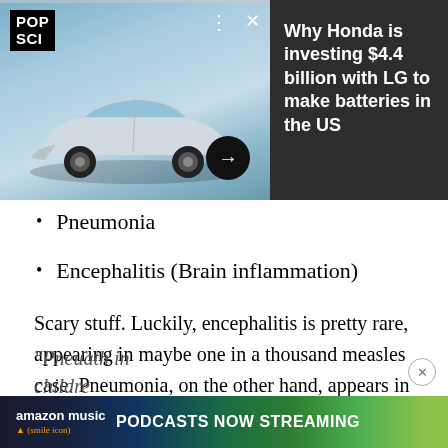[Figure (screenshot): Pop Science advertisement banner featuring a Honda SUV electric vehicle on a dark background with text 'Why Honda is investing $4.4 billion with LG to make batteries in the US']
Pneumonia
Encephalitis (Brain inflammation)
Scary stuff. Luckily, encephalitis is pretty rare, appearing in maybe one in a thousand measles case. Pneumonia, on the other hand, appears in one out of twenty cases. For those who don't know much about pneumonia, it can be deadly to children or the elderly. In fact, according to the World Health Organization,
"Pneu... ath in childre...
[Figure (screenshot): Amazon Music advertisement banner: 'PODCASTS NOW STREAMING']